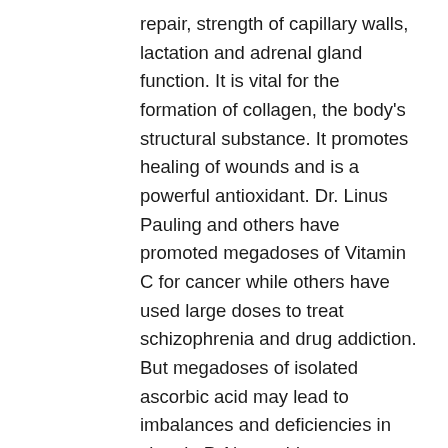repair, strength of capillary walls, lactation and adrenal gland function. It is vital for the formation of collagen, the body's structural substance. It promotes healing of wounds and is a powerful antioxidant. Dr. Linus Pauling and others have promoted megadoses of Vitamin C for cancer while others have used large doses to treat schizophrenia and drug addiction. But megadoses of isolated ascorbic acid may lead to imbalances and deficiencies in vitamin P. New evidence suggests that vitamin C works synergistically with vitamin E. Hypoglycemics and individuals on a high-protein diet require more vitamin C as these conditions interfere with the metabolism of ascorbic acid. It is found in many fruits and vegetables and in certain animal organs. Vitamin C